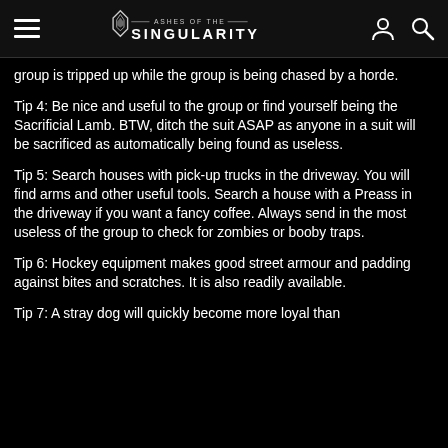Ashes of the Singularity
group is tripped up while the group is being chased by a horde.
Tip 4: Be nice and useful to the group or find yourself being the Sacrificial Lamb. BTW, ditch the suit ASAP as anyone in a suit will be sacrificed as automatically being found as useless.
Tip 5: Search houses with pick-up trucks in the driveway. You will find arms and other useful tools. Search a house with a Preass in the driveway if you want a fancy coffee. Always send in the most useless of the group to check for zombies or booby traps.
Tip 6: Hockey equipment makes good street armour and padding against bites and scratches. It is also readily available.
Tip 7: A stray dog will quickly become more loyal than